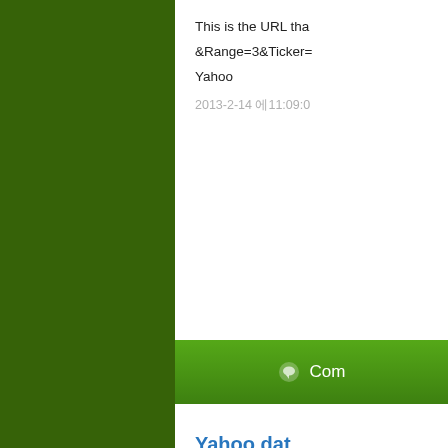[Figure (illustration): Dark green background panel occupying the left portion of the page]
This is the URL tha...
&Range=3&Ticker=...
Yahoo
2013-2-14 에11:09:0...
Com...
Yahoo dat...
For example, if yall... URL into your brow...
gives this:
I forgot to mention ... the spreadsheet au... list according to the...
The spreadsheets ... download data from...